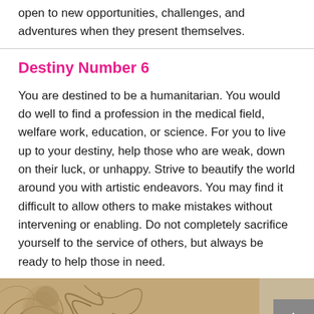open to new opportunities, challenges, and adventures when they present themselves.
Destiny Number 6
You are destined to be a humanitarian. You would do well to find a profession in the medical field, welfare work, education, or science. For you to live up to your destiny, help those who are weak, down on their luck, or unhappy. Strive to beautify the world around you with artistic endeavors. You may find it difficult to allow others to make mistakes without intervening or enabling. Do not completely sacrifice yourself to the service of others, but always be ready to help those in need.
[Figure (illustration): Decorative bottom section with aged parchment/woodblock print texture showing swirling patterns and a figure, with 'I Ching' text label in pink cursive and a grey 'TOP' navigation button in the bottom right corner.]